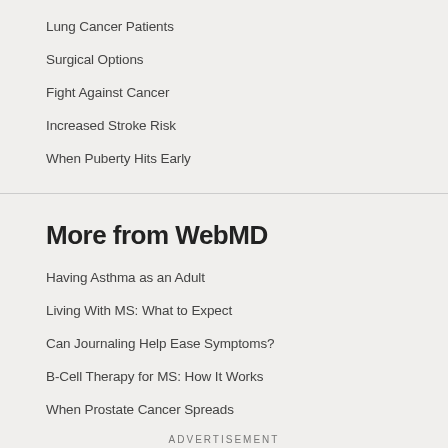Lung Cancer Patients
Surgical Options
Fight Against Cancer
Increased Stroke Risk
When Puberty Hits Early
More from WebMD
Having Asthma as an Adult
Living With MS: What to Expect
Can Journaling Help Ease Symptoms?
B-Cell Therapy for MS: How It Works
When Prostate Cancer Spreads
ADVERTISEMENT